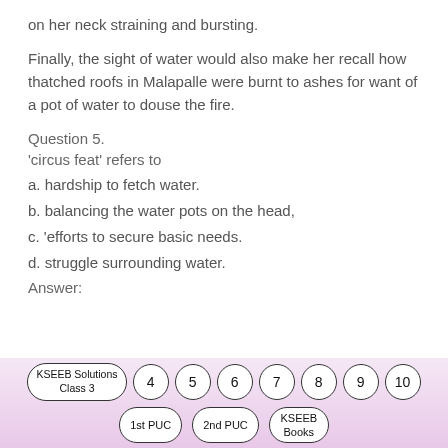on her neck straining and bursting.
Finally, the sight of water would also make her recall how thatched roofs in Malapalle were burnt to ashes for want of a pot of water to douse the fire.
Question 5.
'circus feat' refers to
a. hardship to fetch water.
b. balancing the water pots on the head,
c. 'efforts to secure basic needs.
d. struggle surrounding water.
Answer:
[Figure (other): Navigation buttons: KSEEB Solutions Class 3 (oval), numbered circles 4 5 6 7 8 9 10, and ovals for 1st PUC, 2nd PUC, KSEEB Books]